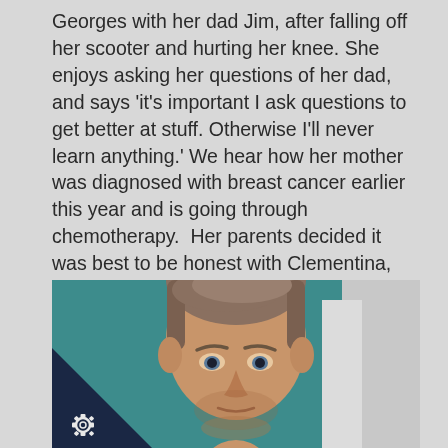…lementina comes to St Georges with her dad Jim, after falling off her scooter and hurting her knee. She enjoys asking her questions of her dad, and says 'it's important I ask questions to get better at stuff. Otherwise I'll never learn anything.' We hear how her mother was diagnosed with breast cancer earlier this year and is going through chemotherapy.  Her parents decided it was best to be honest with Clementina, who is understanding that process through asking lots of questions.
And 29 year old Rick comes to minors after an accident at the gym. He is a war veteran from Afghanistan who was injured in the line of duty.
[Figure (photo): Close-up photo of a man's face (short hair, looking forward) against a teal/blue background with a white object to the right. A navy triangle with a gear/cog logo appears in the bottom-left corner.]